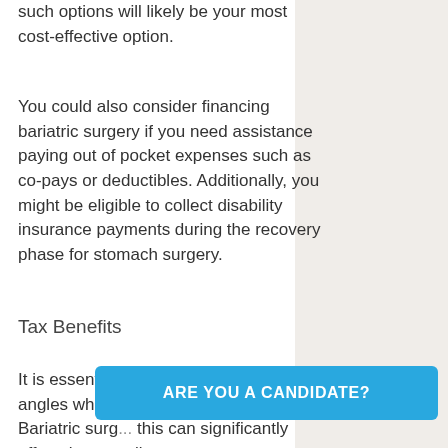such options will likely be your most cost-effective option.
You could also consider financing bariatric surgery if you need assistance paying out of pocket expenses such as co-pays or deductibles. Additionally, you might be eligible to collect disability insurance payments during the recovery phase for stomach surgery.
Tax Benefits
It is essential to be cognizant of tax angles while financing bariatric surgery. Bariatric surg... this can significantly affect the overall
ARE YOU A CANDIDATE?